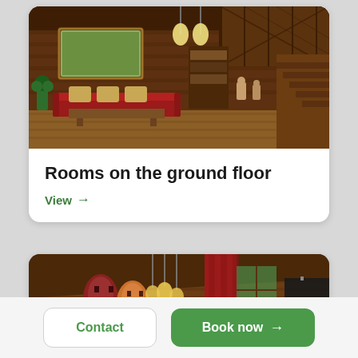[Figure (photo): Interior photo of a wooden lodge living room with red sofa, cushions, wooden staircase, hanging pendant lights, bookshelves, and a framed painting on the wall.]
Rooms on the ground floor
View →
[Figure (photo): Interior photo of a wooden room with African masks on the wall, red curtains, hanging pendant lights, and a lampshade on the right.]
Contact
Book now →